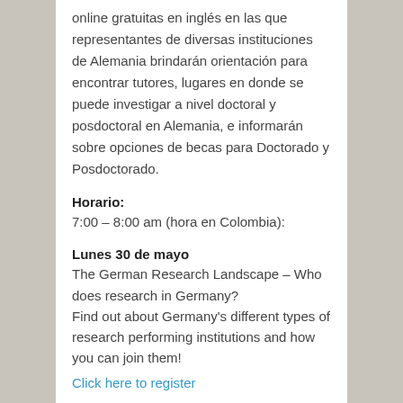online gratuitas en inglés en las que representantes de diversas instituciones de Alemania brindarán orientación para encontrar tutores, lugares en donde se puede investigar a nivel doctoral y posdoctoral en Alemania, e informarán sobre opciones de becas para Doctorado y Posdoctorado.
Horario:
7:00 – 8:00 am (hora en Colombia):
Lunes 30 de mayo
The German Research Landscape – Who does research in Germany?
Find out about Germany's different types of research performing institutions and how you can join them!
Click here to register
Martes 31 de mayo
Doctorate Opportunities in Germany
Join our online talk and find out how to do your doctorate in Germany, how to find a supervisor, write a